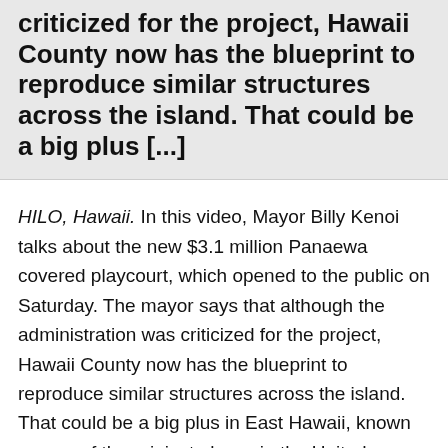criticized for the project, Hawaii County now has the blueprint to reproduce similar structures across the island. That could be a big plus [...]
HILO, Hawaii. In this video, Mayor Billy Kenoi talks about the new $3.1 million Panaewa covered playcourt, which opened to the public on Saturday. The mayor says that although the administration was criticized for the project, Hawaii County now has the blueprint to reproduce similar structures across the island. That could be a big plus in East Hawaii, known as one of the rainiest places in the United States.